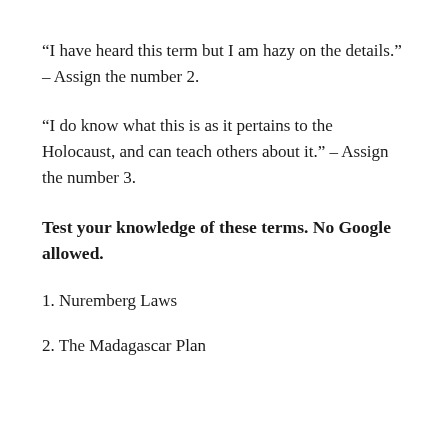“I have heard this term but I am hazy on the details.” – Assign the number 2.
“I do know what this is as it pertains to the Holocaust, and can teach others about it.” – Assign the number 3.
Test your knowledge of these terms. No Google allowed.
1. Nuremberg Laws
2. The Madagascar Plan